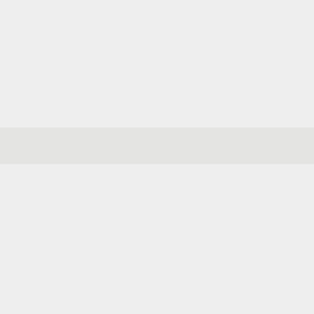[Figure (other): Nearly blank page with a light gray background and a slightly darker horizontal band across the upper-middle portion of the page. No visible text or data content.]